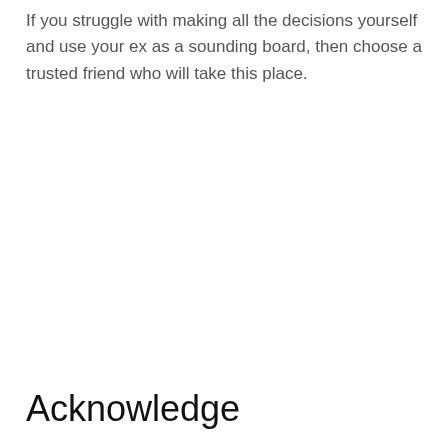If you struggle with making all the decisions yourself and use your ex as a sounding board, then choose a trusted friend who will take this place.
Acknowledge